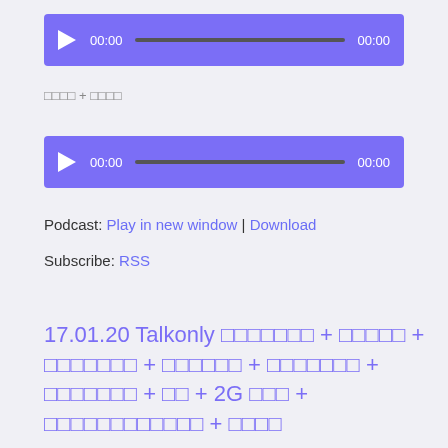[Figure (other): Audio player widget with purple background, play button, time 00:00, progress bar, and end time 00:00]
□□□□ + □□□□
[Figure (other): Second audio player widget with purple background, play button, time 00:00, progress bar, and end time 00:00]
Podcast: Play in new window | Download
Subscribe: RSS
17.01.20 Talkonly □□□□□□□ + □□□□□ + □□□□□□□ + □□□□□□ + □□□□□□□ + □□□□□□□ + □□ + 2G □□□ + □□□□□□□□□□□□ + □□□□